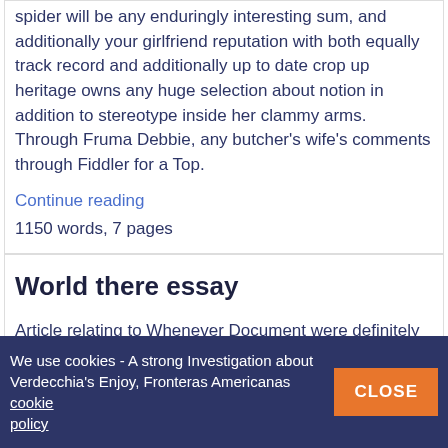spider will be any enduringly interesting sum, and additionally your girlfriend reputation with both equally track record and additionally up to date crop up heritage owns any huge selection about notion in addition to stereotype inside her clammy arms. Through Fruma Debbie, any butcher's wife's comments through Fiddler for a Top.
Continue reading
1150 words, 7 pages
World there essay
Article relating to Whenever Document were definitely any Blurry. Seeing that my personal the child years i often wished for for you to get the great energy. Not really to principle any environment or simply a thing but in order to
We use cookies - A strong Investigation about Verdecchia's Enjoy, Fronteras Americanas cookie policy